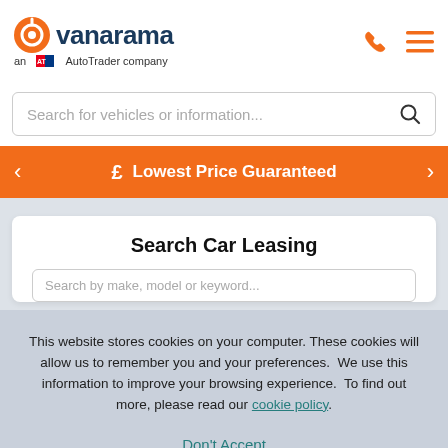[Figure (logo): Vanarama logo with orange circular icon and dark blue text, subtitle 'an AutoTrader company']
[Figure (screenshot): Phone icon and hamburger menu icon in orange on top right of header]
Search for vehicles or information...
£  Lowest Price Guaranteed
Search Car Leasing
This website stores cookies on your computer. These cookies will allow us to remember you and your preferences.  We use this information to improve your browsing experience.  To find out more, please read our cookie policy.
Don't Accept
Accept All